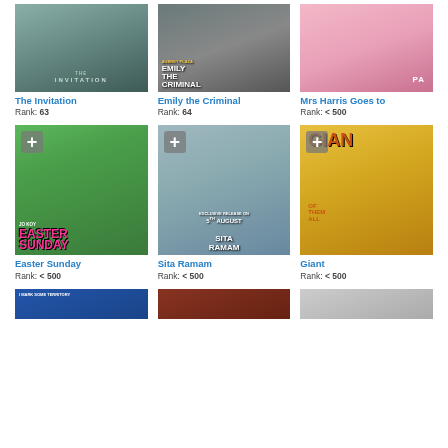[Figure (photo): Movie poster grid showing 9 movie posters in a 3-column layout]
The Invitation
Rank: 63
Emily the Criminal
Rank: 64
Mrs Harris Goes to...
Rank: < 500
Easter Sunday
Rank: < 500
Sita Ramam
Rank: < 500
Giant
Rank: < 500